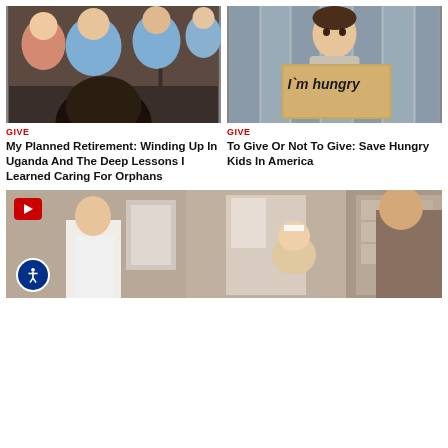[Figure (photo): Group of smiling men, appears to be an outdoor/indoor gathering]
[Figure (photo): Young child holding a cardboard sign reading I'm hungry]
GIVE
My Planned Retirement: Winding Up In Uganda And The Deep Lessons I Learned Caring For Orphans
GIVE
To Give Or Not To Give: Save Hungry Kids In America
[Figure (screenshot): Video thumbnail showing a medical scene with doctor and patient, with a YouTube play button overlay and accessibility button in bottom left]